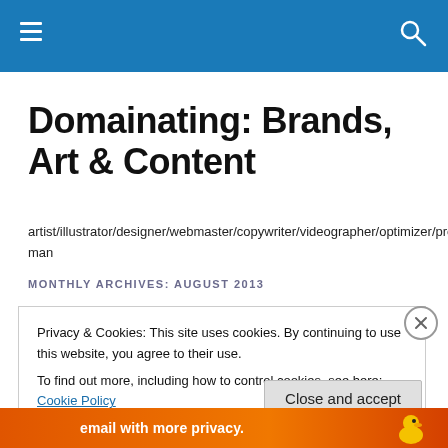Domainating: Brands, Art & Content
artist/illustrator/designer/webmaster/copywriter/videographer/optimizer/promoter/ad-man
MONTHLY ARCHIVES: AUGUST 2013
Privacy & Cookies: This site uses cookies. By continuing to use this website, you agree to their use.
To find out more, including how to control cookies, see here: Cookie Policy
Close and accept
[Figure (infographic): Bottom ad bar with orange background and text 'email with more privacy.' with a duck logo icon on the right]